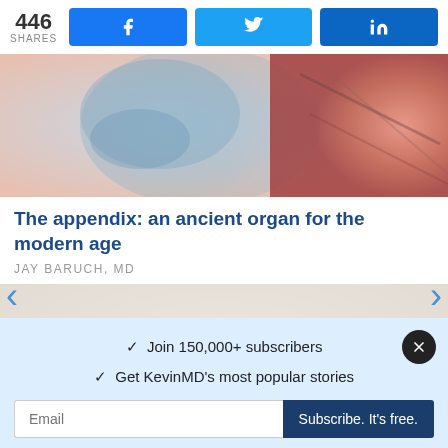446 SHARES | Share on Facebook | Share on Twitter | Share on LinkedIn
[Figure (photo): Close-up medical/anatomical image with reddish pink tones, possibly depicting internal organ tissue]
The appendix: an ancient organ for the modern age
JAY BARUCH, MD
[Figure (photo): Hand holding small blue medical capsules/pills against a light blurred background]
✓  Join 150,000+ subscribers
✓  Get KevinMD's most popular stories
Email | Subscribe. It's free.